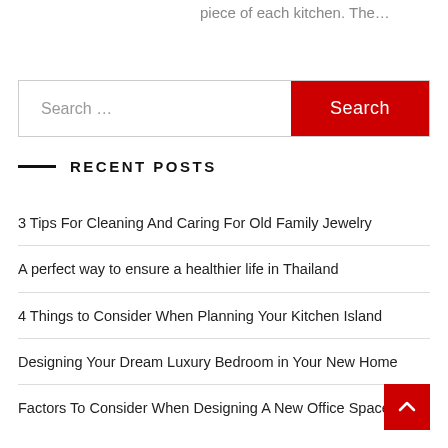piece of each kitchen. The…
Search …
RECENT POSTS
3 Tips For Cleaning And Caring For Old Family Jewelry
A perfect way to ensure a healthier life in Thailand
4 Things to Consider When Planning Your Kitchen Island
Designing Your Dream Luxury Bedroom in Your New Home
Factors To Consider When Designing A New Office Space In